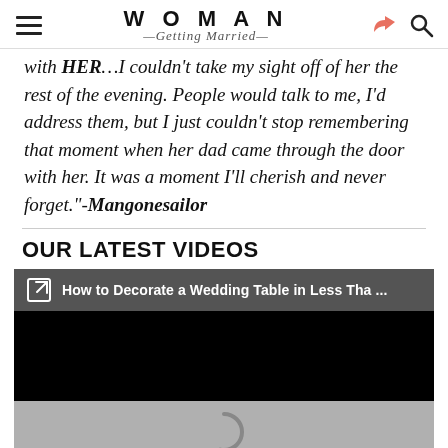WOMAN Getting Married
with HER…I couldn't take my sight off of her the rest of the evening. People would talk to me, I'd address them, but I just couldn't stop remembering that moment when her dad came through the door with her. It was a moment I'll cherish and never forget."-Mangonesailor
OUR LATEST VIDEOS
[Figure (screenshot): Embedded video player showing title 'How to Decorate a Wedding Table in Less Tha ...' with a dark title bar, black video area, and a loading spinner on a grey background below.]